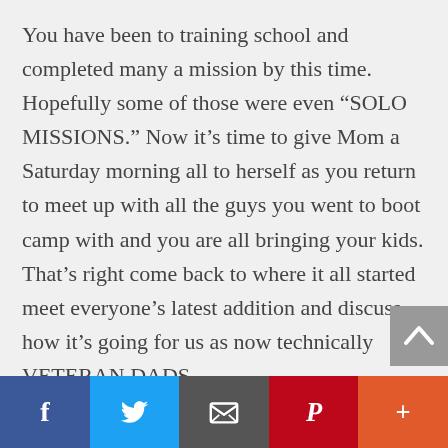You have been to training school and completed many a mission by this time. Hopefully some of those were even “SOLO MISSIONS.” Now it’s time to give Mom a Saturday morning all to herself as you return to meet up with all the guys you went to boot camp with and you are all bringing your kids. That’s right come back to where it all started meet everyone’s latest addition and discuss how it’s going for us as now technically VETERAN DADS.
During this part of the course, you will get back together with old friends and discuss how it
[Figure (other): Social sharing bar with Facebook, Twitter, Email, Pinterest, and More (+) buttons]